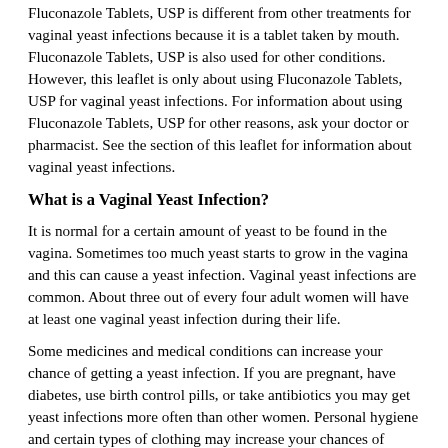Fluconazole Tablets, USP is different from other treatments for vaginal yeast infections because it is a tablet taken by mouth. Fluconazole Tablets, USP is also used for other conditions. However, this leaflet is only about using Fluconazole Tablets, USP for vaginal yeast infections. For information about using Fluconazole Tablets, USP for other reasons, ask your doctor or pharmacist. See the section of this leaflet for information about vaginal yeast infections.
What is a Vaginal Yeast Infection?
It is normal for a certain amount of yeast to be found in the vagina. Sometimes too much yeast starts to grow in the vagina and this can cause a yeast infection. Vaginal yeast infections are common. About three out of every four adult women will have at least one vaginal yeast infection during their life.
Some medicines and medical conditions can increase your chance of getting a yeast infection. If you are pregnant, have diabetes, use birth control pills, or take antibiotics you may get yeast infections more often than other women. Personal hygiene and certain types of clothing may increase your chances of getting a yeast infection. Ask your doctor for tips on what you can do to help prevent vaginal yeast infections.
If you get a vaginal yeast infection, you may have any of the following symptoms: